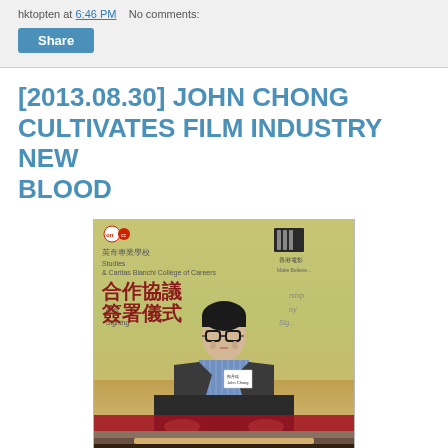hktopten at 6:46 PM   No comments:
Share
[2013.08.30] JOHN CHONG CULTIVATES FILM INDUSTRY NEW BLOOD
[Figure (photo): Photo of John Chong seated in front of a banner reading '合作協議簽署儀式' (Collaboration Agreement Signing Ceremony) with on.cc logo, wearing glasses and dark blazer with a name badge, at what appears to be a press event.]